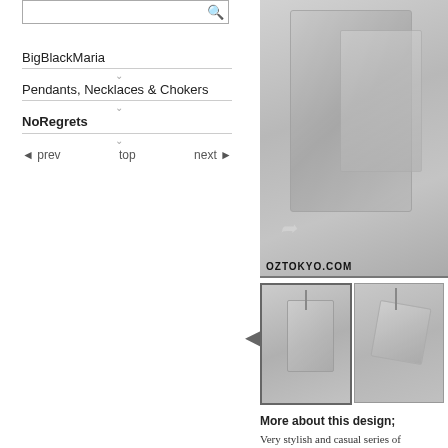BigBlackMaria
Pendants, Necklaces & Chokers
NoRegrets
◄ prev   top   next ►
[Figure (photo): Close-up photo of a silver pendant/tag necklace in an organza bag, with OZTOKYO.COM watermark label]
[Figure (photo): Thumbnail of silver dog tag necklace hanging on chain]
[Figure (photo): Thumbnail of silver tag necklace with label, angled view]
More about this design;
Very stylish and casual series of necklaces. Exclusive 5 pieces only 100% forged by and moods.